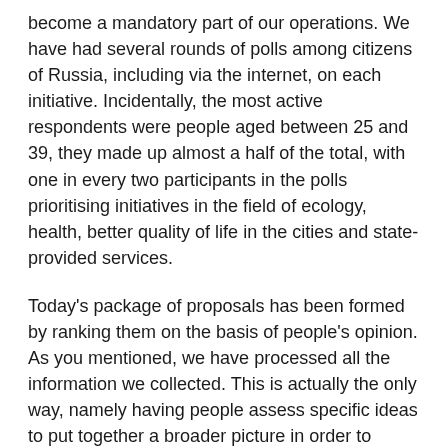become a mandatory part of our operations. We have had several rounds of polls among citizens of Russia, including via the internet, on each initiative. Incidentally, the most active respondents were people aged between 25 and 39, they made up almost a half of the total, with one in every two participants in the polls prioritising initiatives in the field of ecology, health, better quality of life in the cities and state-provided services.
Today's package of proposals has been formed by ranking them on the basis of people's opinion. As you mentioned, we have processed all the information we collected. This is actually the only way, namely having people assess specific ideas to put together a broader picture in order to make the appropriate choice.
The coronavirus pandemic has exacerbated the problems that already existed in the global economy, created new challenges, primarily risks to macroeconomic stability, and it would be wrong to ignore them, although Russia's economy has shown